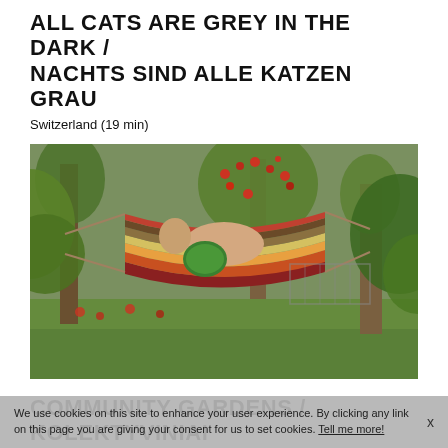ALL CATS ARE GREY IN THE DARK / NACHTS SIND ALLE KATZEN GRAU
Switzerland (19 min)
[Figure (photo): A person lying in a colorful striped hammock outdoors, holding a watermelon, surrounded by trees with fruit and a garden background.]
COMMUNITY GARDENS / KOLEKTYVINIAI SODAI
(15 min)
We use cookies on this site to enhance your user experience. By clicking any link on this page you are giving your consent for us to set cookies. Tell me more!